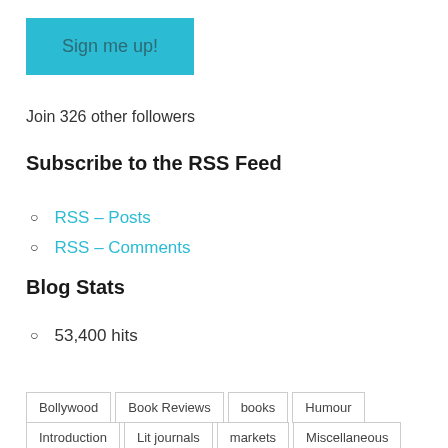Sign me up!
Join 326 other followers
Subscribe to the RSS Feed
RSS – Posts
RSS – Comments
Blog Stats
53,400 hits
Bollywood   Book Reviews   books   Humour
Introduction   Lit journals   markets   Miscellaneous